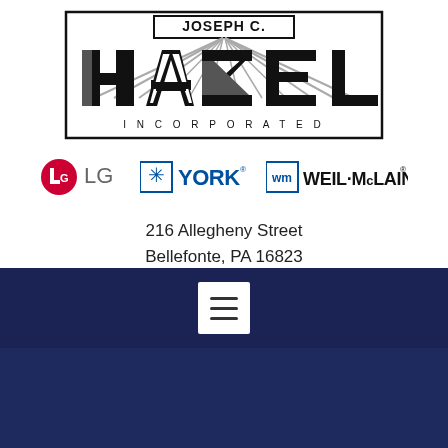[Figure (logo): Joseph C. Hazel Incorporated company logo — large stylized block letters HAZEL with diagonal lines, black and gray, with 'JOSEPH C.' text box above and 'INCORPORATED' spelled out below in spaced letters, all inside a rectangular border]
[Figure (logo): Three brand logos in a row: LG (red circle with LG letters), YORK (blue snowflake icon with bold YORK text), Weil-McLain (blue WM icon with WEIL-McLAIN text)]
216 Allegheny Street
Bellefonte, PA 16823
(814) 355-4841
[Figure (screenshot): Dark navy navigation bar with white hamburger menu button (three horizontal lines icon)]
[Figure (photo): Dark blue/purple background with indistinct shapes at bottom of page]